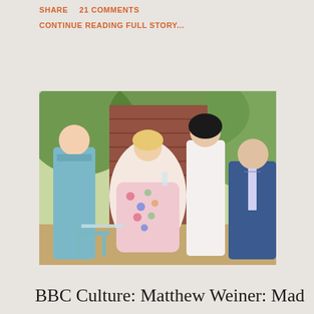SHARE   21 COMMENTS
CONTINUE READING FULL STORY...
[Figure (photo): Four characters from Mad Men posed outdoors on a patio with brick wall and greenery. A young woman in a blue dress stands at left, a blonde woman in a floral dress sits in center holding a cocktail glass, a dark-haired woman in a white lace outfit stands in center-right, and a man in a blue suit sits at right.]
BBC Culture: Matthew Weiner: Mad